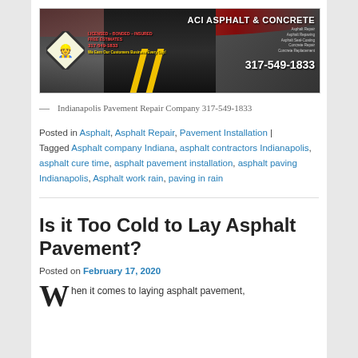[Figure (photo): ACI Asphalt & Concrete banner image with truck, cracked asphalt road, diamond construction sign, company name, services list, and phone number 317-549-1833]
— Indianapolis Pavement Repair Company 317-549-1833
Posted in Asphalt, Asphalt Repair, Pavement Installation | Tagged Asphalt company Indiana, asphalt contractors Indianapolis, asphalt cure time, asphalt pavement installation, asphalt paving Indianapolis, Asphalt work rain, paving in rain
Is it Too Cold to Lay Asphalt Pavement?
Posted on February 17, 2020
When it comes to laying asphalt pavement,